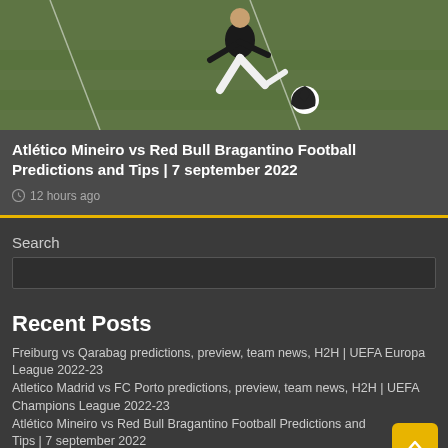[Figure (photo): Soccer player kicking a ball on a green grass field]
Atlético Mineiro vs Red Bull Bragantino Football Predictions and Tips | 7 september 2022
12 hours ago
Search
Recent Posts
Freiburg vs Qarabag predictions, preview, team news, H2H | UEFA Europa League 2022-23
Atletico Madrid vs FC Porto predictions, preview, team news, H2H | UEFA Champions League 2022-23
Atlético Mineiro vs Red Bull Bragantino Football Predictions and Tips | 7 september 2022
Eintracht Frankfurt vs Sporting Lisbon Predictions and Tips | 7 September